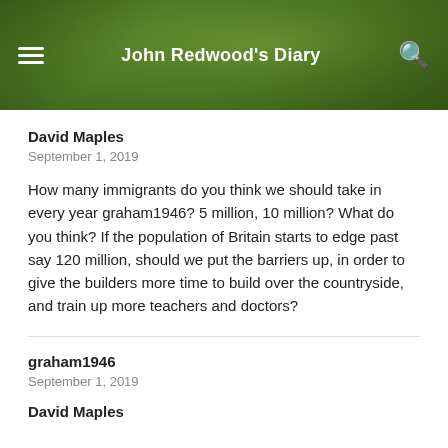John Redwood's Diary
David Maples
September 1, 2019
How many immigrants do you think we should take in every year graham1946? 5 million, 10 million? What do you think? If the population of Britain starts to edge past say 120 million, should we put the barriers up, in order to give the builders more time to build over the countryside, and train up more teachers and doctors?
graham1946
September 1, 2019
David Maples